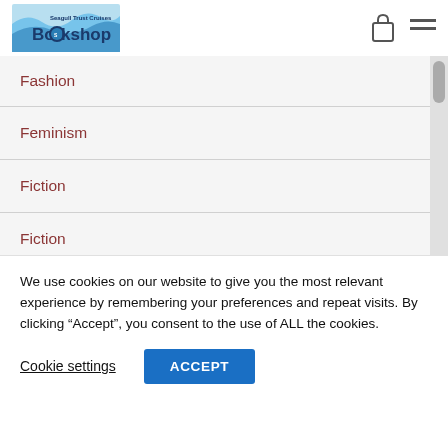[Figure (logo): Seagull Trust Cruises Bookshop logo with blue wave background and ship graphic]
Fashion
Feminism
Fiction
Fiction
Film
Film
Film & TV
We use cookies on our website to give you the most relevant experience by remembering your preferences and repeat visits. By clicking “Accept”, you consent to the use of ALL the cookies.
Cookie settings
ACCEPT